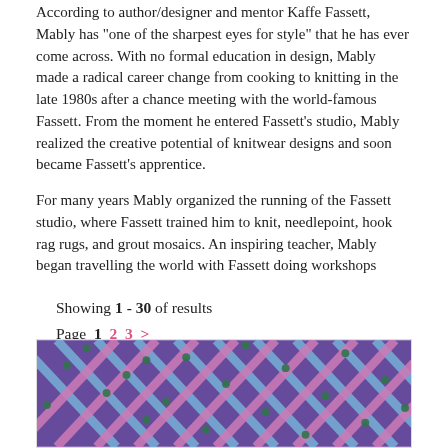According to author/designer and mentor Kaffe Fassett, Mably has "one of the sharpest eyes for style" that he has ever come across. With no formal education in design, Mably made a radical career change from cooking to knitting in the late 1980s after a chance meeting with the world-famous Fassett. From the moment he entered Fassett's studio, Mably realized the creative potential of knitwear designs and soon became Fassett's apprentice.
For many years Mably organized the running of the Fassett studio, where Fassett trained him to knit, needlepoint, hook rag rugs, and grout mosaics. An inspiring teacher, Mably began travelling the world with Fassett doing workshops
Showing 1 - 30 of results
Page 1 2 3 >
[Figure (photo): Colorful knit/weave textile pattern in purple, blue, pink, and green diagonal grid design]